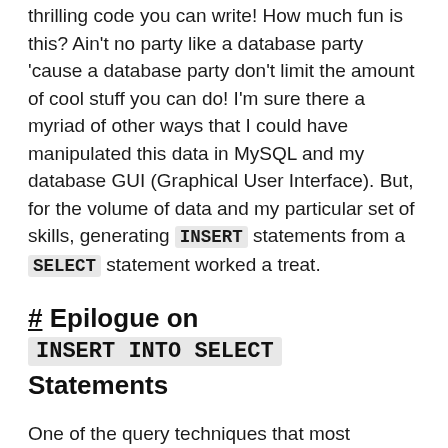thrilling code you can write! How much fun is this? Ain't no party like a database party 'cause a database party don't limit the amount of cool stuff you can do! I'm sure there a myriad of other ways that I could have manipulated this data in MySQL and my database GUI (Graphical User Interface). But, for the volume of data and my particular set of skills, generating INSERT statements from a SELECT statement worked a treat.
# Epilogue on INSERT INTO SELECT Statements
One of the query techniques that most databases